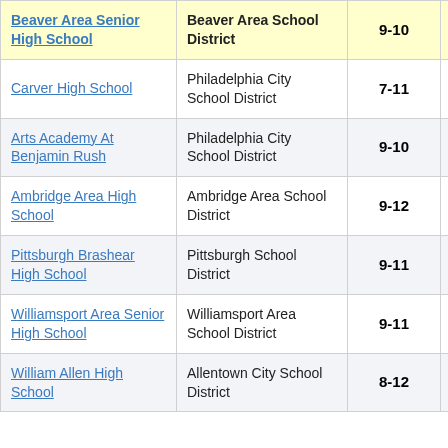| School | District | Grades | Score |
| --- | --- | --- | --- |
| Beaver Area Senior High School | Beaver Area School District | 9-10 | -2.5 |
| Carver High School | Philadelphia City School District | 7-11 | -16.8 |
| Arts Academy At Benjamin Rush | Philadelphia City School District | 9-10 | -18.6 |
| Ambridge Area High School | Ambridge Area School District | 9-12 | -18.9 |
| Pittsburgh Brashear High School | Pittsburgh School District | 9-11 | -20.1 |
| Williamsport Area Senior High School | Williamsport Area School District | 9-11 | -11.1 |
| William Allen High School | Allentown City School District | 8-12 | -15.5 |